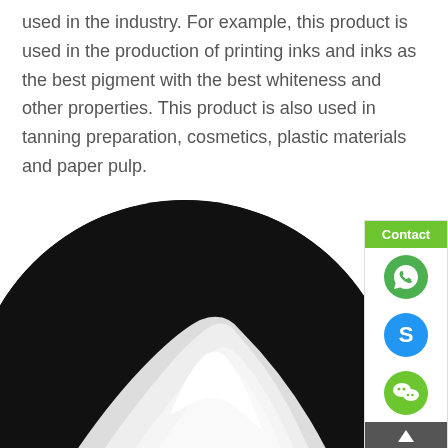used in the industry. For example, this product is used in the production of printing inks and inks as the best pigment with the best whiteness and other properties. This product is also used in tanning preparation, cosmetics, plastic materials and paper pulp.
[Figure (photo): A pile of white powder on a black circular plate/dish, photographed from a slight angle showing a mountain-like mound of fine white powder against a dark background.]
[Figure (infographic): Contact panel on the right side with green header labeled 'Contact' and three messaging app icons: WhatsApp (green phone bubble), Skype (blue S logo), and WeChat (green chat bubbles).]